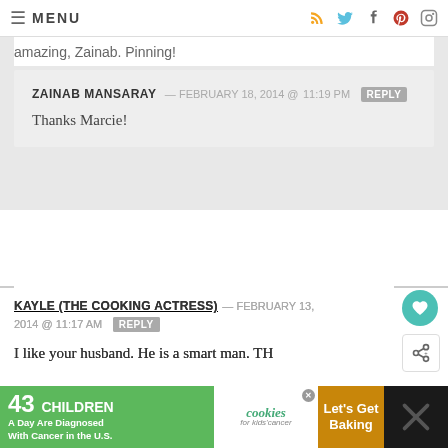MENU
amazing, Zainab. Pinning!
ZAINAB MANSARAY — FEBRUARY 18, 2014 @ 11:19 PM REPLY
Thanks Marcie!
KAYLE (THE COOKING ACTRESS) — FEBRUARY 13, 2014 @ 11:17 AM REPLY
I like your husband. He is a smart man. TH... ooooh I swoon over it!!
[Figure (other): WHAT'S NEXT arrow with Peanut Butter Chocolate... thumbnail]
[Figure (other): Banner ad: 43 Children A Day Are Diagnosed With Cancer in the U.S. / cookies for kids cancer / Let's Get Baking]